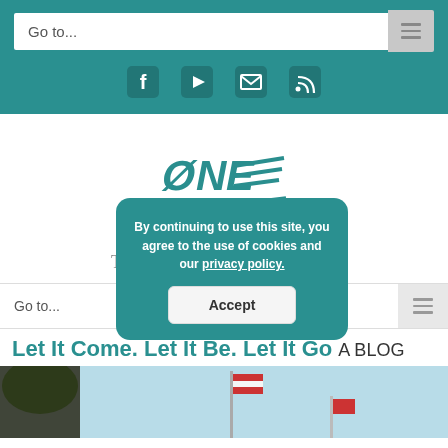Go to...
[Figure (other): Social media icons: Facebook, YouTube, Email, RSS feed]
[Figure (logo): ONE LIFE logo in teal with stylized text]
The Legacy of Michael Barnett
Go to...
Let It Come. Let It Be. Let It Go A BLOG
[Figure (photo): Blue sky with trees and a flag on a pole]
By continuing to use this site, you agree to the use of cookies and our privacy policy.
Accept